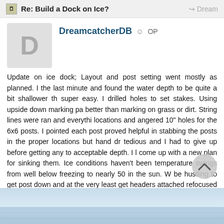Re: Build a Dock on Ice?
DreamcatcherDB OP
Update on ice dock; Layout and post setting went mostly as planned. I the last minute and found the water depth to be quite a bit shallower th super easy. I drilled holes to set stakes. Using upside down marking pa better than marking on grass or dirt. String lines were ran and everythi locations and angered 10" holes for the 6x6 posts. I pointed each post proved helpful in stabbing the posts in the proper locations but hand dr tedious and I had to give up before getting any to acceptable depth. I l come up with a new plan for sinking them. Ice conditions haven't been temperature swings from well below freezing to nearly 50 in the sun. W be hustling to get post down and at the very least get headers attached refocused efforts on getting our excavator running. I think it should be s by pushing them down with the excavator bucket. Also, if my ice thaws will just build on shore then swing them in place using the excavator to
[Figure (photo): Photo of a partially frozen lake or icy water surface, pale blue sky and water]